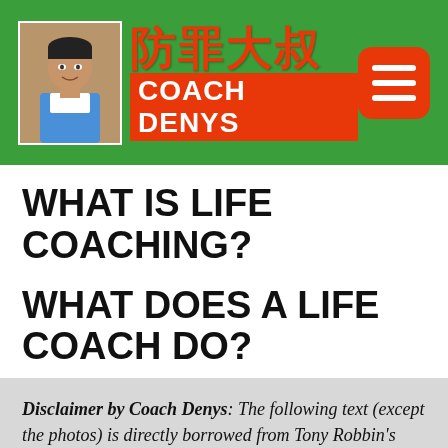[Figure (logo): Coach Denys logo with photo, Chinese characters 防罪大叔, and COACH DENYS text on green background with orange menu button]
WHAT IS LIFE COACHING?
WHAT DOES A LIFE COACH DO?
Disclaimer by Coach Denys: The following text (except the photos) is directly borrowed from Tony Robbin's public web site. You can read its entire page there by following this link. Or you can read it here by scrolling down. By sharing his web